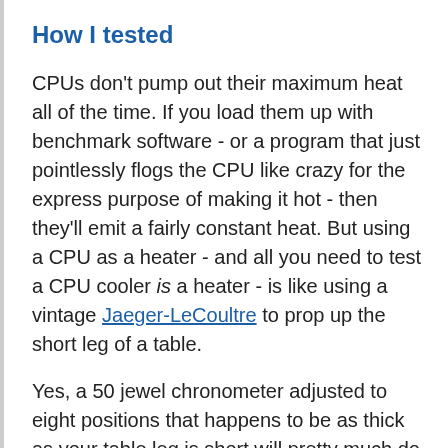How I tested
CPUs don't pump out their maximum heat all of the time. If you load them up with benchmark software - or a program that just pointlessly flogs the CPU like crazy for the express purpose of making it hot - then they'll emit a fairly constant heat. But using a CPU as a heater - and all you need to test a CPU cooler is a heater - is like using a vintage Jaeger-LeCoultre to prop up the short leg of a table.
Yes, a 50 jewel chronometer adjusted to eight positions that happens to be as thick as your table leg is short will pretty much do the job. But a much, much simpler thing, like a bit of wood, will work better.
So it is with testing CPUs. If you use a heater that's shaped like a CPU, instead of an actual CPU, you can get more accurate numbers. With a dedicated heater, you know exactly how much heat the thing's really